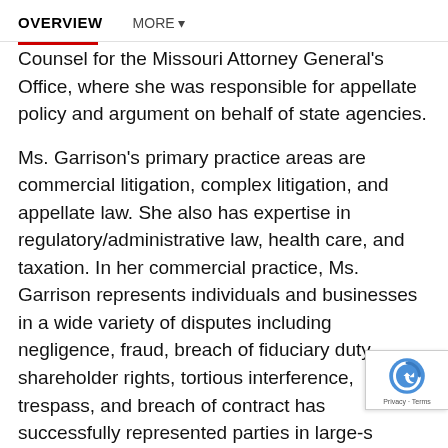OVERVIEW   MORE ▾
Counsel for the Missouri Attorney General's Office, where she was responsible for appellate policy and argument on behalf of state agencies.
Ms. Garrison's primary practice areas are commercial litigation, complex litigation, and appellate law. She also has expertise in regulatory/administrative law, health care, and taxation. In her commercial practice, Ms. Garrison represents individuals and businesses in a wide variety of disputes including negligence, fraud, breach of fiduciary duty, shareholder rights, tortious interference, trespass, and breach of contract has successfully represented parties in large-s litigation involving acquisitions and mergers,